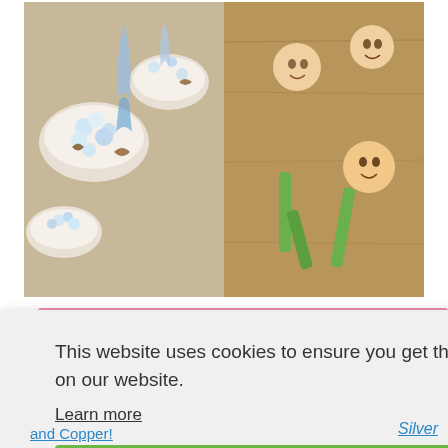[Figure (photo): Two side-by-side photos. Left: bowls of blue/white popcorn mix with pretzels and blue ribbon on a table. Right: colorful paper flower craft decorations with children's faces in the center, on a wood surface.]
[Figure (screenshot): Cookie consent popup overlay with grey background. Text: 'This website uses cookies to ensure you get the best experience on our website.' with 'Learn more' link and green 'Got it!' button.]
nt!
Silver
and Copper!